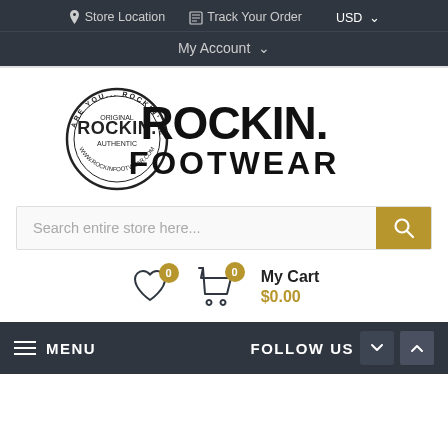Store Location   Track Your Order   USD
My Account
[Figure (logo): Rockin Footwear logo with circular stamp and bold text ROCKIN FOOTWEAR]
Search entire store here...
My Cart $0.00
MENU   FOLLOW US